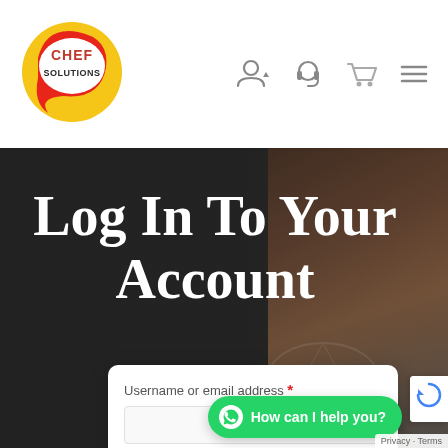[Figure (logo): Chef Solutions logo: yellow circle with red swoosh, text CHEF SOLUTIONS in red and dark]
[Figure (other): Navigation icons: user/account icon with dropdown arrow, headset/support icon, shopping cart icon, hamburger menu icon]
[Figure (screenshot): Hero background: dark gray/charcoal background with food/cooking image on the right side partially visible, decorative leaf watermark]
Log In To Your Account
Username or email address *
[Figure (other): Green WhatsApp chat button with circle icon and text: How can I help you?]
Privacy - Terms